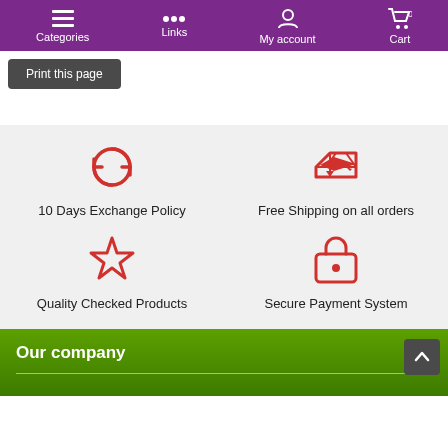Categories  Links  My account  Cart 0
Print this page
[Figure (infographic): Four feature icons in a 2x2 grid on a light grey background: 1) Circular arrows icon - 10 Days Exchange Policy, 2) Airplane icon - Free Shipping on all orders, 3) Star icon - Quality Checked Products, 4) Lock icon - Secure Payment System]
Our company